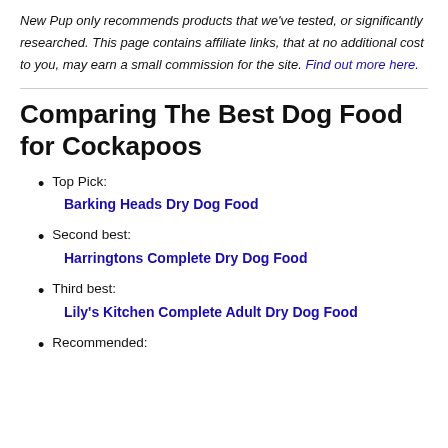New Pup only recommends products that we've tested, or significantly researched. This page contains affiliate links, that at no additional cost to you, may earn a small commission for the site. Find out more here.
Comparing The Best Dog Food for Cockapoos
Top Pick: Barking Heads Dry Dog Food
Second best: Harringtons Complete Dry Dog Food
Third best: Lily's Kitchen Complete Adult Dry Dog Food
Recommended: